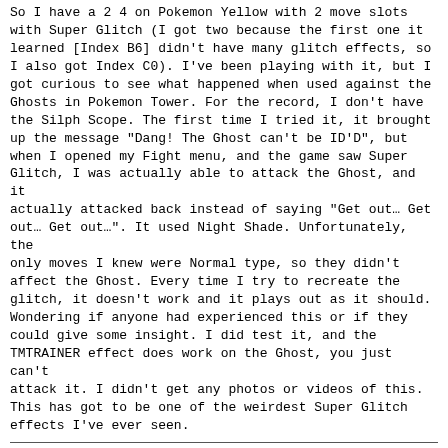So I have a 2 4 on Pokemon Yellow with 2 move slots with Super Glitch (I got two because the first one it learned [Index B6] didn't have many glitch effects, so I also got Index C0). I've been playing with it, but I got curious to see what happened when used against the Ghosts in Pokemon Tower. For the record, I don't have the Silph Scope. The first time I tried it, it brought up the message "Dang! The Ghost can't be ID'D", but when I opened my Fight menu, and the game saw Super Glitch, I was actually able to attack the Ghost, and it actually attacked back instead of saying "Get out… Get out… Get out…". It used Night Shade. Unfortunately, the only moves I knew were Normal type, so they didn't affect the Ghost. Every time I try to recreate the glitch, it doesn't work and it plays out as it should. Wondering if anyone had experienced this or if they could give some insight. I did test it, and the TMTRAINER effect does work on the Ghost, you just can't attack it. I didn't get any photos or videos of this. This has got to be one of the weirdest Super Glitch effects I've ever seen.
Re: Super Glitch in Pokemon Tower (Pokemon Yellow)
Posted by: Bert
Date: 2016-10-31 21:56:02
I was actually able to attack the Ghost, and